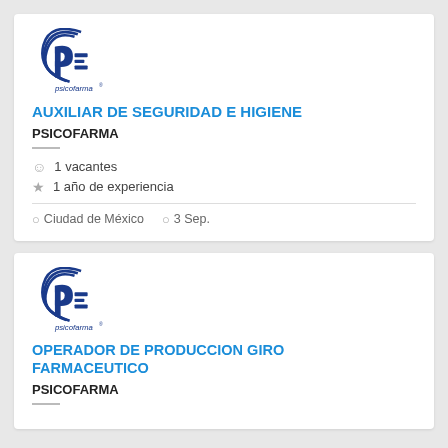[Figure (logo): Psicofarma company logo with blue circular arc design and text 'psicofarma']
AUXILIAR DE SEGURIDAD E HIGIENE
PSICOFARMA
1 vacantes
1 año de experiencia
Ciudad de México  3 Sep.
[Figure (logo): Psicofarma company logo with blue circular arc design and text 'psicofarma']
OPERADOR DE PRODUCCION GIRO FARMACEUTICO
PSICOFARMA